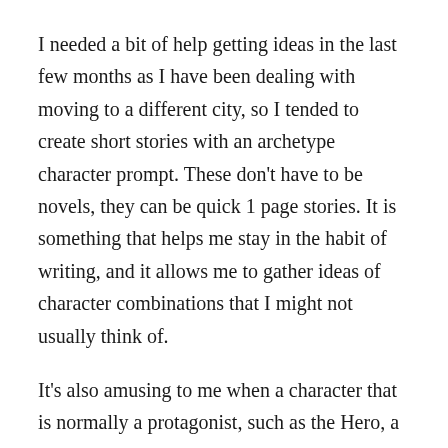I needed a bit of help getting ideas in the last few months as I have been dealing with moving to a different city, so I tended to create short stories with an archetype character prompt. These don't have to be novels, they can be quick 1 page stories. It is something that helps me stay in the habit of writing, and it allows me to gather ideas of character combinations that I might not usually think of.
It's also amusing to me when a character that is normally a protagonist, such as the Hero, a Knight, or a Sage, turns out to be the villain after all.
Here is a list of 30 archetype character based writing prompts. The first archetype is your story protagonist (hero), the second is the antagonist (villain), and the...